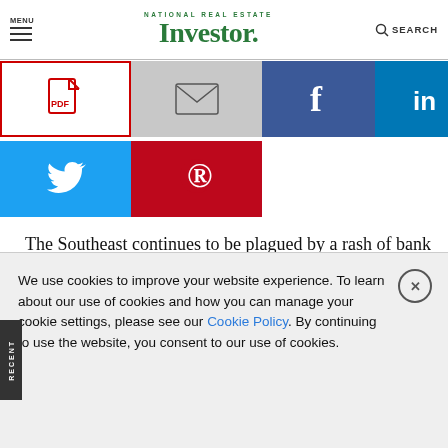MENU  NATIONAL REAL ESTATE Investor. SEARCH
[Figure (screenshot): Social share buttons: PDF (red border), Email (gray), Facebook (blue), LinkedIn (blue), Twitter (light blue), Pinterest (red)]
The Southeast continues to be plagued by a rash of bank failures caused by an excessive exposure to commercial real estate, and analysts say the trend isn’t expected to dissipate anytime soon. Of the four banks that closed in June, two were in Georgia, one was in South Carolina, and the other was in
We use cookies to improve your website experience. To learn about our use of cookies and how you can manage your cookie settings, please see our Cookie Policy. By continuing to use the website, you consent to our use of cookies.